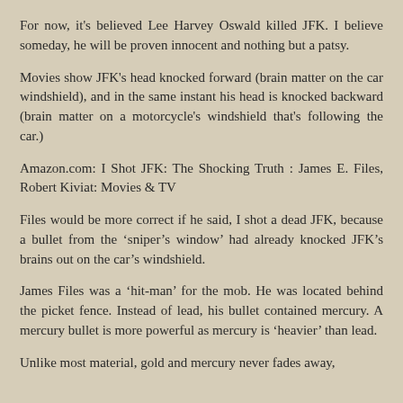For now, it's believed Lee Harvey Oswald killed JFK. I believe someday, he will be proven innocent and nothing but a patsy.
Movies show JFK's head knocked forward (brain matter on the car windshield), and in the same instant his head is knocked backward (brain matter on a motorcycle's windshield that's following the car.)
Amazon.com: I Shot JFK: The Shocking Truth : James E. Files, Robert Kiviat: Movies & TV
Files would be more correct if he said, I shot a dead JFK, because a bullet from the ‘sniper’s window’ had already knocked JFK’s brains out on the car’s windshield.
James Files was a ‘hit-man’ for the mob. He was located behind the picket fence. Instead of lead, his bullet contained mercury. A mercury bullet is more powerful as mercury is ‘heavier’ than lead.
Unlike most material, gold and mercury never fades away,